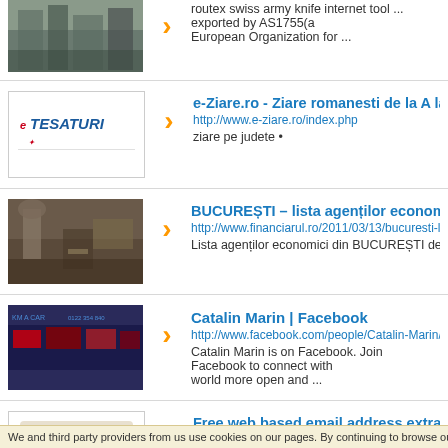[Figure (screenshot): City building thumbnail (partial, top of page)]
routex swiss army knife internet tool ... exported by AS1755(a European Organization for ...
[Figure (logo): eTESATURI logo - red/blue text on white background]
e-Ziare.ro - Ziare romanesti de la A la Z
http://www.e-ziare.ro/index.php
ziare pe judete •
[Figure (photo): Atelier / tailoring workshop interior with mannequin and sewing machine]
BUCUREȘTI – lista agenților economici decla...
http://www.financiarul.ro/2011/03/13/bucuresti-lista-agentilor-...
Lista agenților economici din BUCUREȘTI declarați inactivi c...
[Figure (screenshot): Car dealership banner with multiple cars]
Catalin Marin | Facebook
http://www.facebook.com/people/Catalin-Marin/10000064857...
Catalin Marin is on Facebook. Join Facebook to connect with world more open and ...
[Figure (illustration): FOR RENT sign - red text on white background]
Free web based email address extractor...
http://www.skymem.com/document.aspx?name=email-2010-s...
We and third party providers from us use cookies on our pages. By continuing to browse our